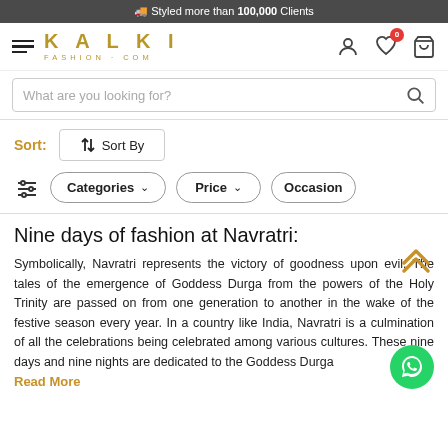Styled more than 100,000 Clients
[Figure (logo): Kalki Fashion.com logo with hamburger menu and header icons (user, wishlist with 0 badge, cart)]
What are you looking for?
Sort: ↕ Sort By
Categories ∨   Price ∨   Occasion
Nine days of fashion at Navratri:
Symbolically, Navratri represents the victory of goodness upon evil. The tales of the emergence of Goddess Durga from the powers of the Holy Trinity are passed on from one generation to another in the wake of the festive season every year. In a country like India, Navratri is a culmination of all the celebrations being celebrated among various cultures. These nine days and nine nights are dedicated to the Goddess Duraa
Read More